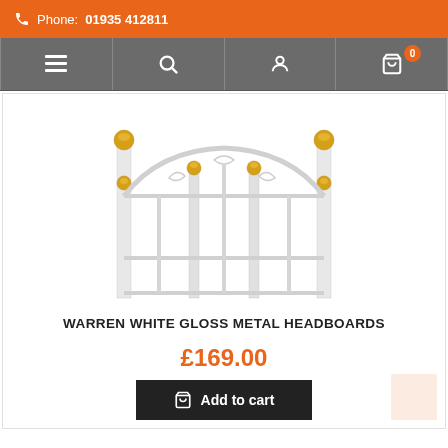Phone: 01935 412811
[Figure (photo): White gloss metal headboard with ornate scrollwork and gold decorative finials on the top corners and centre posts]
WARREN WHITE GLOSS METAL HEADBOARDS
£169.00
Add to cart